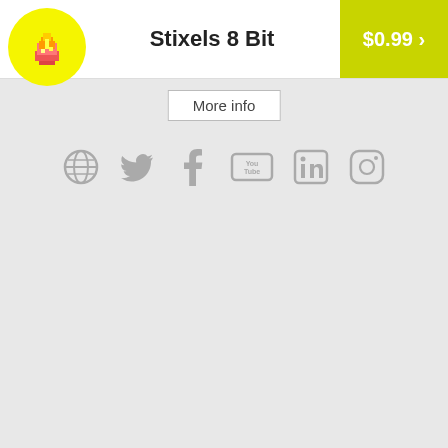Stixels 8 Bit — $0.99
More info
[Figure (other): Row of six social media icons: globe/website, Twitter, Facebook, YouTube, LinkedIn, Instagram — all in grey]